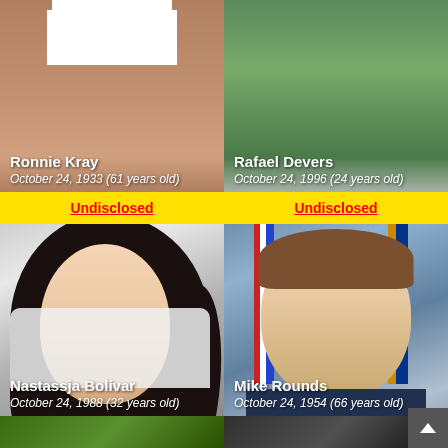[Figure (photo): Photo card of Ronnie Kray with white rectangle at top, name overlay and date]
Ronnie Kray
October 24, 1933 (61 years old)
Undisclosed
[Figure (photo): Photo card of Rafael Devers with baseball background, name overlay and date]
Rafael Devers
October 24, 1996 (24 years old)
Undisclosed
[Figure (photo): Photo card of Nastassja Bolivar smiling woman with dark hair]
Nastassja Bolívar
October 24, 1988 (32 years old)
Undisclosed
[Figure (photo): Photo card of Mike Rounds smiling man in suit with flags in background]
Mike Rounds
October 24, 1954 (66 years old)
Undisclosed
[Figure (photo): Partial photo strip at bottom showing two more person cards]